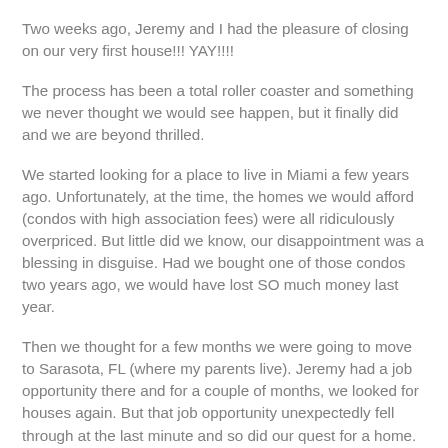Two weeks ago, Jeremy and I had the pleasure of closing on our very first house!!! YAY!!!!
The process has been a total roller coaster and something we never thought we would see happen, but it finally did and we are beyond thrilled.
We started looking for a place to live in Miami a few years ago. Unfortunately, at the time, the homes we would afford (condos with high association fees) were all ridiculously overpriced. But little did we know, our disappointment was a blessing in disguise. Had we bought one of those condos two years ago, we would have lost SO much money last year.
Then we thought for a few months we were going to move to Sarasota, FL (where my parents live). Jeremy had a job opportunity there and for a couple of months, we looked for houses again. But that job opportunity unexpectedly fell through at the last minute and so did our quest for a home.